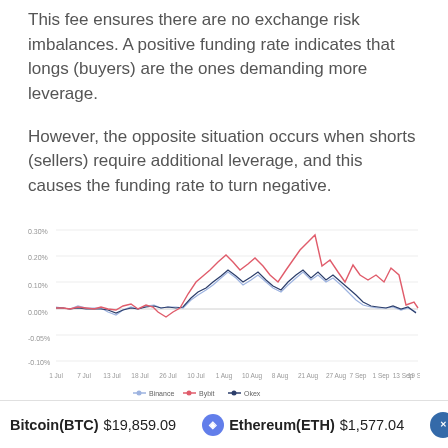This fee ensures there are no exchange risk imbalances. A positive funding rate indicates that longs (buyers) are the ones demanding more leverage.
However, the opposite situation occurs when shorts (sellers) require additional leverage, and this causes the funding rate to turn negative.
[Figure (continuous-plot): Line chart showing funding rates over time from 1 Jul to 19 Sep for three series: Binance (blue), Bybit (red/pink), and Okex (dark/navy). Y-axis shows percentage values ranging from approximately -0.05% to 0.30%. The lines show relatively flat rates early on, with significant volatility and spikes in Aug-Sep period, with the red Bybit line showing the highest peak around 0.28% in early September.]
Bitcoin(BTC) $19,859.09   Ethereum(ETH) $1,577.04   XRP(